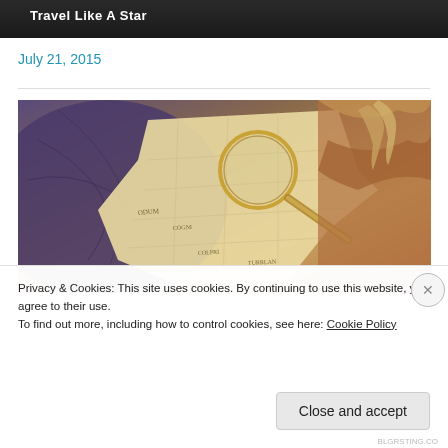[Figure (photo): Dark banner image at top with white text reading 'Travel Like A Star']
July 21, 2015
[Figure (photo): Vintage old map with a magnifying glass placed on top, in warm sepia and purple tones]
Privacy & Cookies: This site uses cookies. By continuing to use this website, you agree to their use.
To find out more, including how to control cookies, see here: Cookie Policy
Close and accept